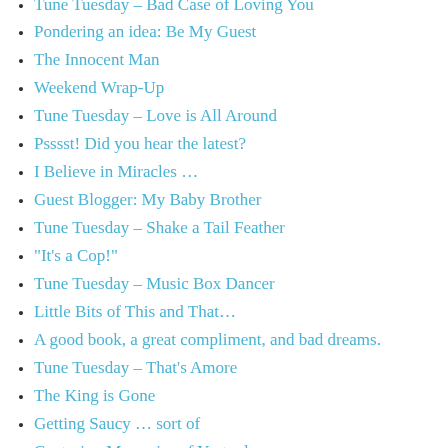Tune Tuesday – Bad Case of Loving You
Pondering an idea: Be My Guest
The Innocent Man
Weekend Wrap-Up
Tune Tuesday – Love is All Around
Psssst! Did you hear the latest?
I Believe in Miracles …
Guest Blogger: My Baby Brother
Tune Tuesday – Shake a Tail Feather
“It’s a Cop!”
Tune Tuesday – Music Box Dancer
Little Bits of This and That…
A good book, a great compliment, and bad dreams.
Tune Tuesday – That’s Amore
The King is Gone
Getting Saucy … sort of
Capturing Memories of Yesterday
Tune Tuesday – Pilot of the Airwaves
Get the “funk” out!
Tune Tuesday – Ain’t No Sunshine
The Big “D” (and I don’t mean Dallas)
Spilling the Beans ….
Daddy’s Little Girl
Zorro, The Gay Blade